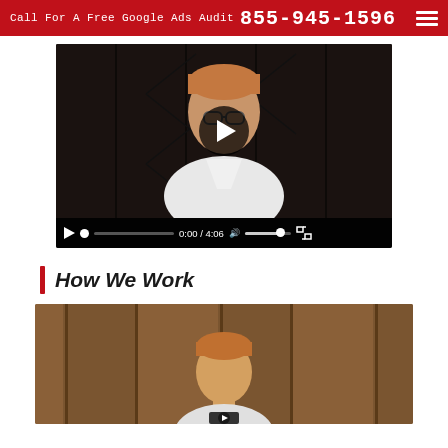Call For A Free Google Ads Audit  855-945-1596
[Figure (screenshot): Embedded video player showing a man with glasses and auburn hair sitting in front of dark wooden paneling. Video controls show 0:00 / 4:06.]
How We Work
[Figure (screenshot): Second embedded video player showing a man in front of wooden doors, partially visible, with a play button overlay.]